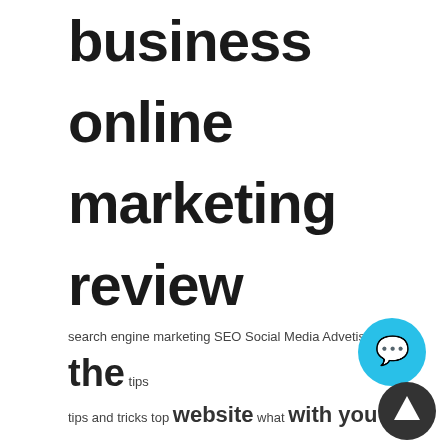business online marketing review search engine marketing SEO Social Media Advetising the tips tips and tricks top website what with you your
CATEGORIES
Ad Exchange
Ad Formats
Ads
Advertisers
Advertising Network
Affiliate Guides
Affiliate Industry
Affiliate Marketing
Affiliate Networks